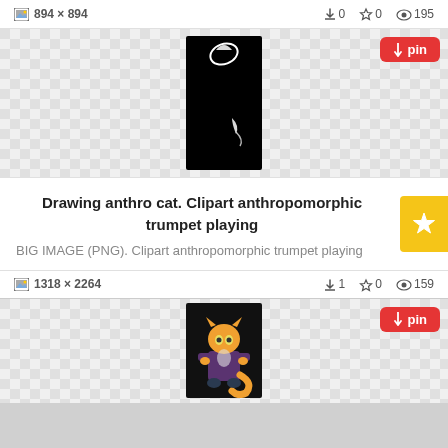894 x 894   ↓0  ☆0  👁 195
[Figure (illustration): Black vertical rectangle clipart with white cat ear/paw shapes visible, shown on a checkered transparent background. Has a red 'pin' button in top-right.]
Drawing anthro cat. Clipart anthropomorphic trumpet playing
BIG IMAGE (PNG). Clipart anthropomorphic trumpet playing
1318 x 2264   ↓1  ☆0  👁 159
[Figure (illustration): Colored cartoon anthropomorphic cat character sitting, on a checkered transparent/black background. Has a red 'pin' button in top-right.]